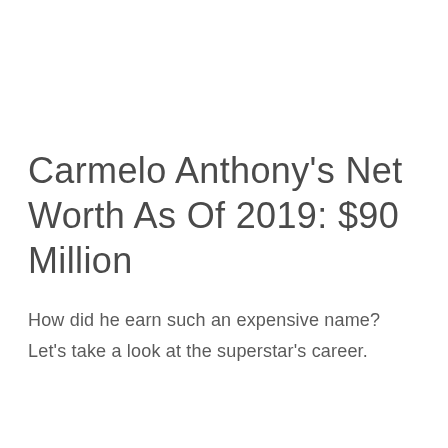Carmelo Anthony's Net Worth As Of 2019: $90 Million
How did he earn such an expensive name? Let's take a look at the superstar's career.